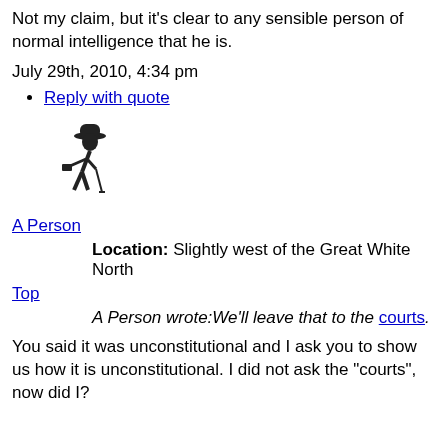Not my claim, but it's clear to any sensible person of normal intelligence that he is.
July 29th, 2010, 4:34 pm
Reply with quote
[Figure (illustration): Small black silhouette illustration of a person in a bowler hat carrying a briefcase and walking with a cane]
A Person
Location: Slightly west of the Great White North
Top
A Person wrote:We'll leave that to the courts.
You said it was unconstitutional and I ask you to show us how it is unconstitutional. I did not ask the "courts", now did I?